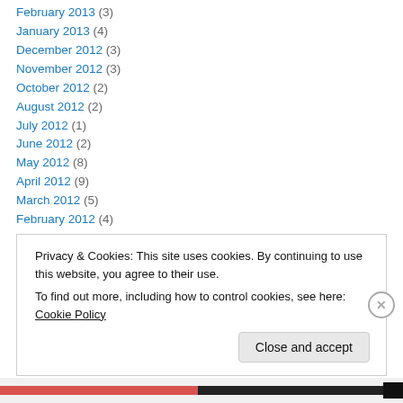February 2013 (3)
January 2013 (4)
December 2012 (3)
November 2012 (3)
October 2012 (2)
August 2012 (2)
July 2012 (1)
June 2012 (2)
May 2012 (8)
April 2012 (9)
March 2012 (5)
February 2012 (4)
January 2012 (6)
Privacy & Cookies: This site uses cookies. By continuing to use this website, you agree to their use. To find out more, including how to control cookies, see here: Cookie Policy
Close and accept